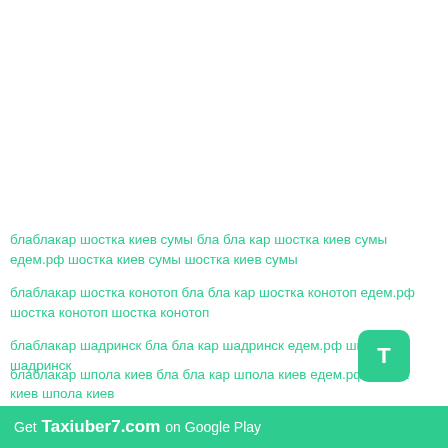блаблакар шостка киев сумы бла бла кар шостка киев сумы едем.рф шостка киев сумы шостка киев сумы
блаблакар шостка конотоп бла бла кар шостка конотоп едем.рф шостка конотоп шостка конотоп
блаблакар шадринск бла бла кар шадринск едем.рф шадринск шадринск
блаблакар шпола киев бла бла кар шпола киев едем.рф шпола киев шпола киев
Get Taxiuber7.com on Google Play